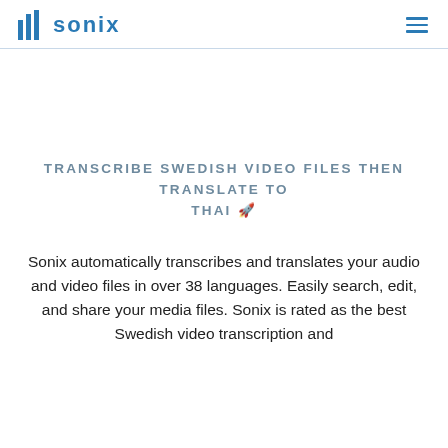sonix
TRANSCRIBE SWEDISH VIDEO FILES THEN TRANSLATE TO THAI 🚀
Sonix automatically transcribes and translates your audio and video files in over 38 languages. Easily search, edit, and share your media files. Sonix is rated as the best Swedish video transcription and